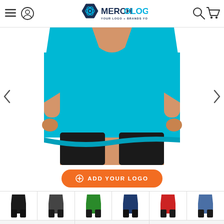Merchology — YOUR LOGO + BRANDS YOU LOVE
[Figure (photo): Man wearing a bright teal/turquoise short-sleeve t-shirt with black pants, cropped at neck and upper thighs, white background.]
⊕ ADD YOUR LOGO
[Figure (photo): Six thumbnail images of a man in t-shirts of different colors: black, dark grey, green, navy, red, heather blue.]
| SIZE | PRICE | QTY |
| --- | --- | --- |